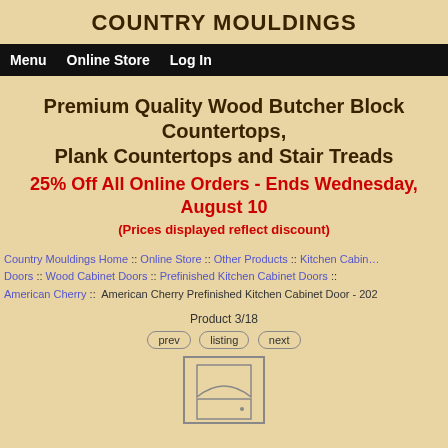COUNTRY MOULDINGS
Menu  Online Store  Log In
Premium Quality Wood Butcher Block Countertops, Plank Countertops and Stair Treads
25% Off All Online Orders - Ends Wednesday, August 10
(Prices displayed reflect discount)
Country Mouldings Home :: Online Store :: Other Products :: Kitchen Cabinet Doors :: Wood Cabinet Doors :: Prefinished Kitchen Cabinet Doors :: American Cherry :: American Cherry Prefinished Kitchen Cabinet Door - 202
Product 3/18
prev  listing  next
[Figure (illustration): Cabinet door with arched panel design, shown as a line drawing]